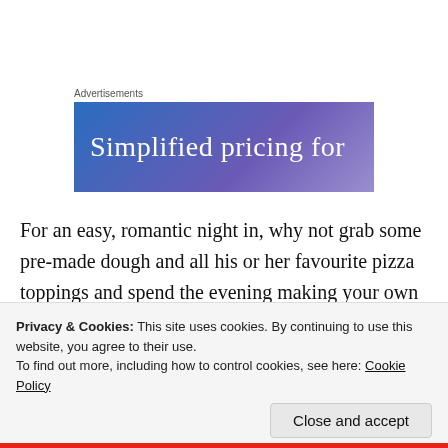Advertisements
[Figure (illustration): Advertisement banner with gradient blue-purple background and white text reading 'Simplified pricing for']
For an easy, romantic night in, why not grab some pre-made dough and all his or her favourite pizza toppings and spend the evening making your own pizzas. Share them cuddled up watching an action rom-com movie.
Privacy & Cookies: This site uses cookies. By continuing to use this website, you agree to their use.
To find out more, including how to control cookies, see here: Cookie Policy
Close and accept